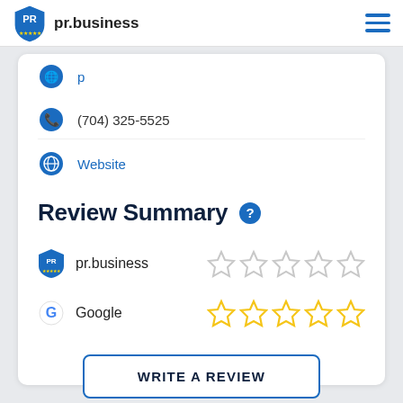pr.business
(704) 325-5525
Website
Review Summary
pr.business — 0 stars (pr.business)
Google — 0 stars (Google)
WRITE A REVIEW